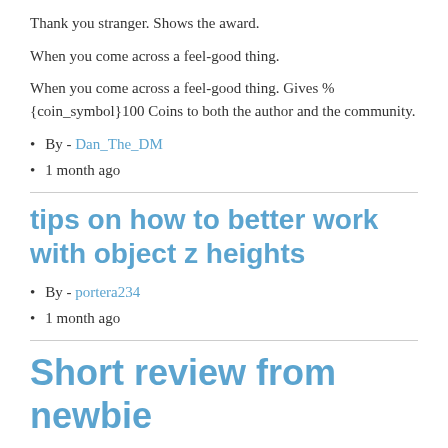Thank you stranger. Shows the award.
When you come across a feel-good thing.
When you come across a feel-good thing. Gives %{coin_symbol}100 Coins to both the author and the community.
By - Dan_The_DM
1 month ago
tips on how to better work with object z heights
By - portera234
1 month ago
Short review from newbie
By - v_a_l_w_e_n
2 months ago